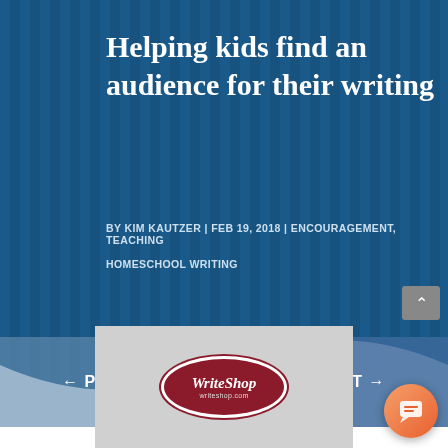Helping kids find an audience for their writing
BY KIM KAUTZER | FEB 19, 2018 | ENCOURAGEMENT, TEACHING
HOMESCHOOL WRITING
← PREV
NEXT →
[Figure (logo): WriteShop logo — dark red oval with italic white text 'WriteShop' and 'writeshop.com' below, inside a light grey image strip with a person visible at bottom edge]